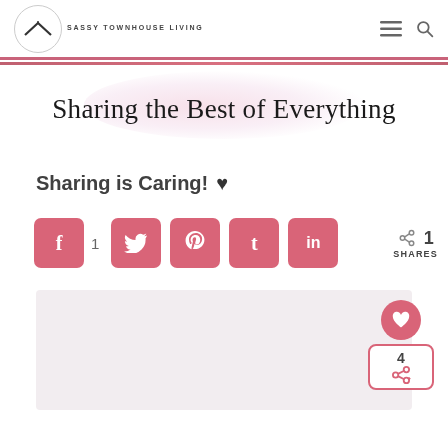SASSY TOWNHOUSE LIVING
[Figure (illustration): Sassy Townhouse Living logo: circle with house/roof icon and text below]
[Figure (illustration): Watercolor banner with script text: Sharing the Best of Everything]
Sharing is Caring! ♥
[Figure (infographic): Social share buttons row: Facebook (f) with count 1, Twitter, Pinterest, Tumblr, LinkedIn, plus share icon with 1 SHARES]
[Figure (infographic): Floating heart/like button (pink circle) with count 4 and share icon at bottom right]